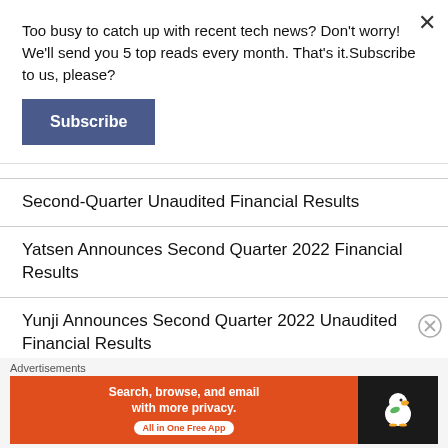Too busy to catch up with recent tech news? Don't worry! We'll send you 5 top reads every month. That's it.Subscribe to us, please?
Subscribe
Second-Quarter Unaudited Financial Results
Yatsen Announces Second Quarter 2022 Financial Results
Yunji Announces Second Quarter 2022 Unaudited Financial Results
China Online Education Group to Report Second
Advertisements
[Figure (screenshot): DuckDuckGo advertisement banner: orange left panel with text 'Search, browse, and email with more privacy. All in One Free App' and dark right panel with DuckDuckGo duck logo]